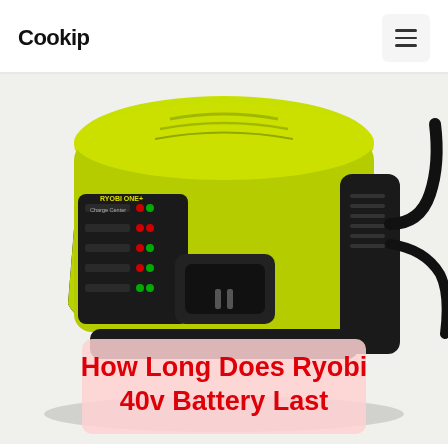Cookip
[Figure (photo): A Ryobi 40v battery charger (Charge Center) shown from above at an angle. The charger is lime green and black with indicator lights and a charging bay. Text overlay reads 'How Long Does Ryobi 40v Battery Last' in bold red on a light pink background.]